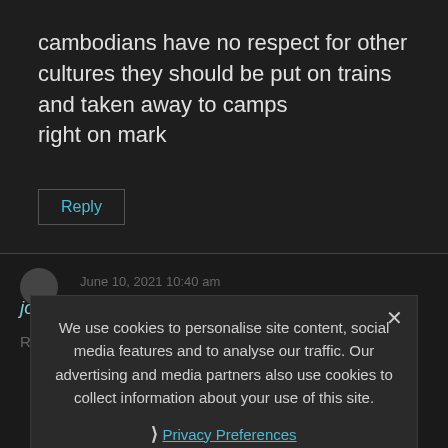cambodians have no respect for other cultures they should be put on trains and taken away to camps
right on mark
Reply
June 10, 2021 10:40 am
john smith how dare you say that you monster
Reply
We use cookies to personalise site content, social media features and to analyse our traffic. Our advertising and media partners also use cookies to collect information about your use of this site.
Privacy Preferences
I Agree